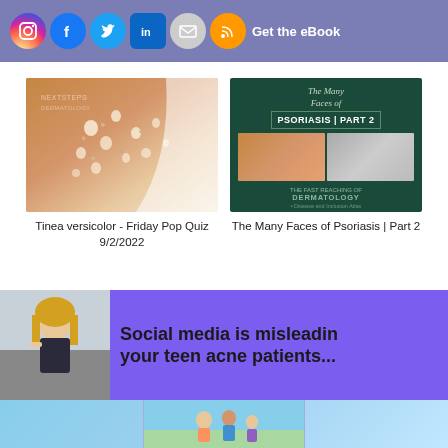[Figure (screenshot): Social media icons bar (Instagram, Facebook, Twitter, LinkedIn, Email, RSS) with 'Get the eBook' text on purple background]
[Figure (photo): Skin showing tinea versicolor spots on arm/shoulder with NEXTSTEPS DERMATOLOGY watermark]
Tinea versicolor - Friday Pop Quiz 9/2/2022
[Figure (photo): Book cover: 'The Many Faces of Psoriasis | Part 2' on dark green background with dermatology photos]
The Many Faces of Psoriasis | Part 2
[Figure (photo): Advertisement banner with purple background showing teen girl and text 'Social media is misleading your teen acne patients...']
[Figure (photo): Partial image at bottom of page, appears to show people outdoors with sky]